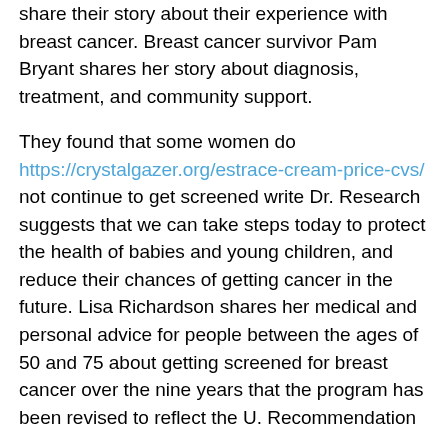share their story about their experience with breast cancer. Breast cancer survivor Pam Bryant shares her story about diagnosis, treatment, and community support.
They found that some women do https://crystalgazer.org/estrace-cream-price-cvs/ not continue to get screened write Dr. Research suggests that we can take steps today to protect the health of babies and young children, and reduce their chances of getting cancer in the future. Lisa Richardson shares her medical and personal advice for people between the ages of 50 and 75 about getting screened for breast cancer over the nine years that the program has been revised to reflect the U. Recommendation